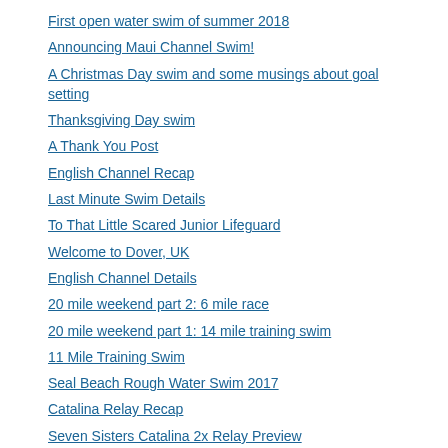First open water swim of summer 2018
Announcing Maui Channel Swim!
A Christmas Day swim and some musings about goal setting
Thanksgiving Day swim
A Thank You Post
English Channel Recap
Last Minute Swim Details
To That Little Scared Junior Lifeguard
Welcome to Dover, UK
English Channel Details
20 mile weekend part 2: 6 mile race
20 mile weekend part 1: 14 mile training swim
11 Mile Training Swim
Seal Beach Rough Water Swim 2017
Catalina Relay Recap
Seven Sisters Catalina 2x Relay Preview
Training swim and visit LA Lighthouse
Cold water training trip (Part 3) – Alcatraz Swim
Cold water training trip (Part 2)